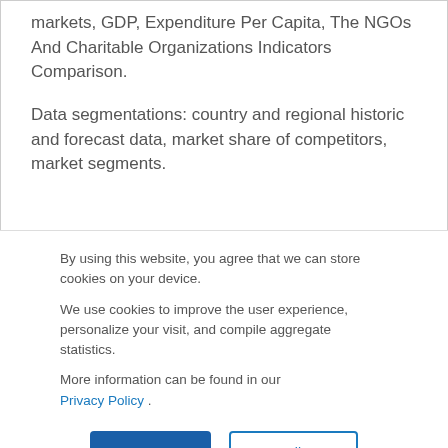markets, GDP, Expenditure Per Capita, The NGOs And Charitable Organizations Indicators Comparison.
Data segmentations: country and regional historic and forecast data, market share of competitors, market segments.
By using this website, you agree that we can store cookies on your device.
We use cookies to improve the user experience, personalize your visit, and compile aggregate statistics.
More information can be found in our Privacy Policy .